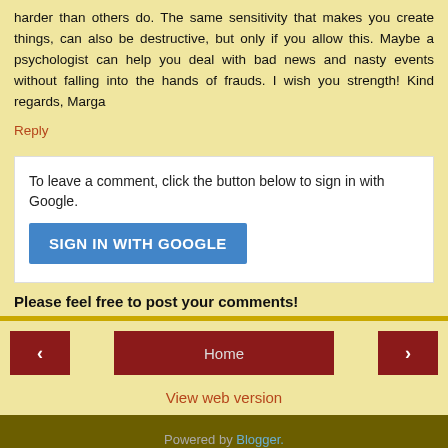harder than others do. The same sensitivity that makes you create things, can also be destructive, but only if you allow this. Maybe a psychologist can help you deal with bad news and nasty events without falling into the hands of frauds. I wish you strength! Kind regards, Marga
Reply
To leave a comment, click the button below to sign in with Google.
SIGN IN WITH GOOGLE
Please feel free to post your comments!
Home
View web version
Powered by Blogger.